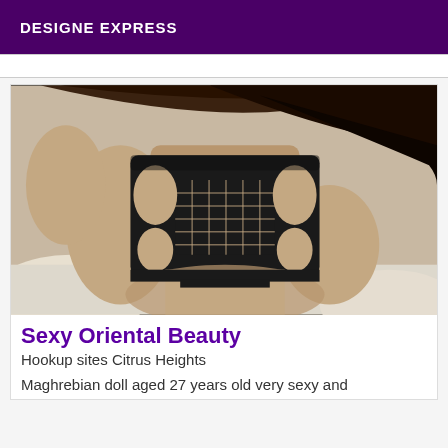DESIGNE EXPRESS
[Figure (photo): Photo of a person in black lace lingerie lying on white bedding, torso visible with dark hair spread out]
Sexy Oriental Beauty
Hookup sites Citrus Heights
Maghrebian doll aged 27 years old very sexy and